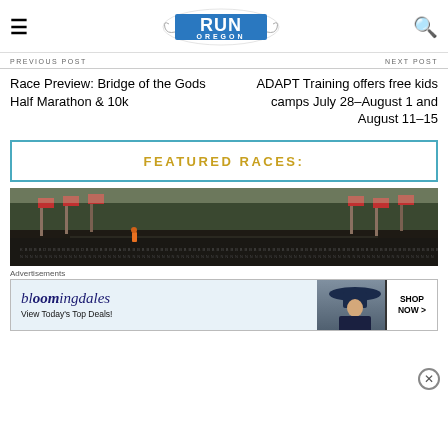RUN OREGON
PREVIOUS POST
NEXT POST
Race Preview: Bridge of the Gods Half Marathon & 10k
ADAPT Training offers free kids camps July 28–August 1 and August 11–15
FEATURED RACES:
[Figure (photo): Outdoor race scene with American flags lining a road, trees in background, dark wall with names]
Advertisements
[Figure (screenshot): Bloomingdales advertisement: View Today's Top Deals! SHOP NOW >]